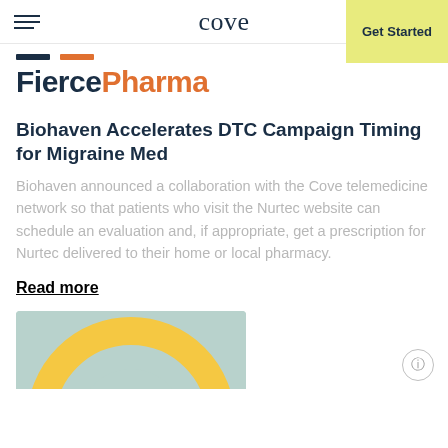cove  Get Started
[Figure (logo): FiercePharma logo with dark navy and orange color bars above text]
Biohaven Accelerates DTC Campaign Timing for Migraine Med
Biohaven announced a collaboration with the Cove telemedicine network so that patients who visit the Nurtec website can schedule an evaluation and, if appropriate, get a prescription for Nurtec delivered to their home or local pharmacy.
Read more
[Figure (illustration): Partial circular illustration with yellow and teal colors at the bottom of the page]